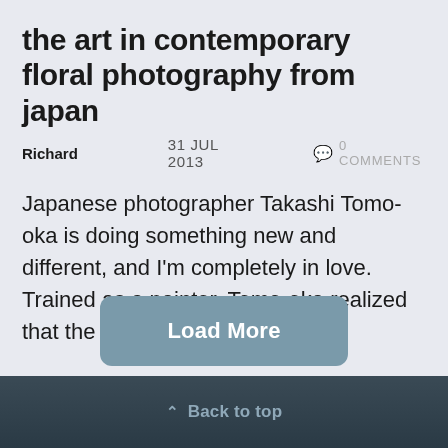the art in contemporary floral photography from japan
Richard   31 JUL 2013   0 COMMENTS
Japanese photographer Takashi Tomo-oka is doing something new and different, and I'm completely in love. Trained as a painter, Tomo-oka realized that the delicacy ...
Load More
^ Back to top